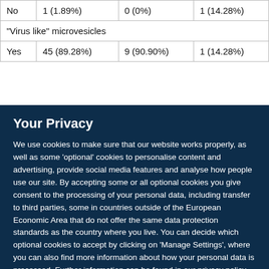| No | 1 (1.89%) | 0 (0%) | 1 (14.28%) |
| "Virus like" microvesicles |  |  |  |
| Yes | 45 (89.28%) | 9 (90.90%) | 1 (14.28%) |
Your Privacy
We use cookies to make sure that our website works properly, as well as some 'optional' cookies to personalise content and advertising, provide social media features and analyse how people use our site. By accepting some or all optional cookies you give consent to the processing of your personal data, including transfer to third parties, some in countries outside of the European Economic Area that do not offer the same data protection standards as the country where you live. You can decide which optional cookies to accept by clicking on 'Manage Settings', where you can also find more information about how your personal data is processed. Further information can be found in our privacy policy.
Accept all cookies
Manage preferences